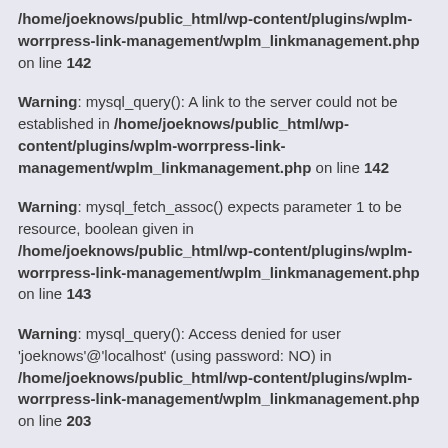/home/joeknows/public_html/wp-content/plugins/wplm-worrpress-link-management/wplm_linkmanagement.php on line 142
Warning: mysql_query(): A link to the server could not be established in /home/joeknows/public_html/wp-content/plugins/wplm-worrpress-link-management/wplm_linkmanagement.php on line 142
Warning: mysql_fetch_assoc() expects parameter 1 to be resource, boolean given in /home/joeknows/public_html/wp-content/plugins/wplm-worrpress-link-management/wplm_linkmanagement.php on line 143
Warning: mysql_query(): Access denied for user 'joeknows'@'localhost' (using password: NO) in /home/joeknows/public_html/wp-content/plugins/wplm-worrpress-link-management/wplm_linkmanagement.php on line 203